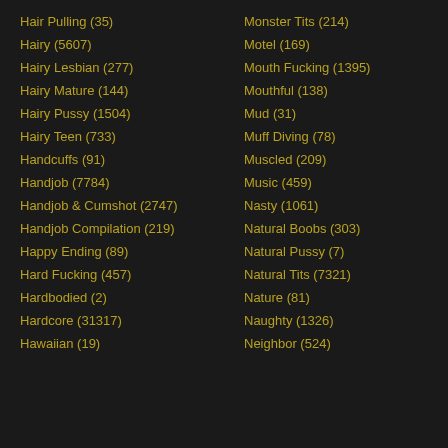Hair Pulling (35)
Hairy (5607)
Hairy Lesbian (277)
Hairy Mature (144)
Hairy Pussy (1504)
Hairy Teen (733)
Handcuffs (91)
Handjob (7784)
Handjob & Cumshot (2747)
Handjob Compilation (219)
Happy Ending (89)
Hard Fucking (457)
Hardbodied (2)
Hardcore (31317)
Hawaiian (19)
Monster Tits (214)
Motel (169)
Mouth Fucking (1395)
Mouthful (138)
Mud (31)
Muff Diving (78)
Muscled (209)
Music (459)
Nasty (1061)
Natural Boobs (303)
Natural Pussy (7)
Natural Tits (7321)
Nature (81)
Naughty (1326)
Neighbor (524)